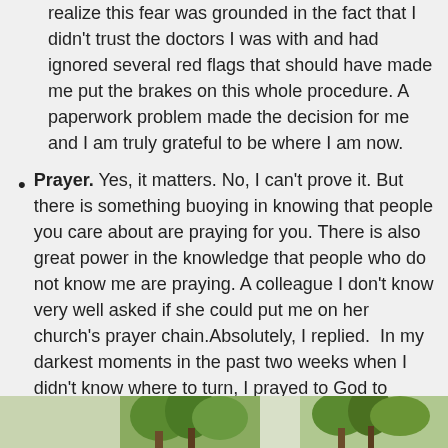realize this fear was grounded in the fact that I didn't trust the doctors I was with and had ignored several red flags that should have made me put the brakes on this whole procedure. A paperwork problem made the decision for me and I am truly grateful to be where I am now.
Prayer. Yes, it matters. No, I can't prove it. But there is something buoying in knowing that people you care about are praying for you. There is also great power in the knowledge that people who do not know me are praying. A colleague I don't know very well asked if she could put me on her church's prayer chain.Absolutely, I replied. In my darkest moments in the past two weeks when I didn't know where to turn, I prayed to God to deliver me. In His tender mercy, He did. He put angels in my path who knew what to do. .
I still have breast cancer, and I know I am facing trying days ahead, but a weight has been lifted from me. I have control back. I am ready to be healed.
[Figure (photo): Partial photo strip at the bottom of the page showing trees and outdoor scenery]